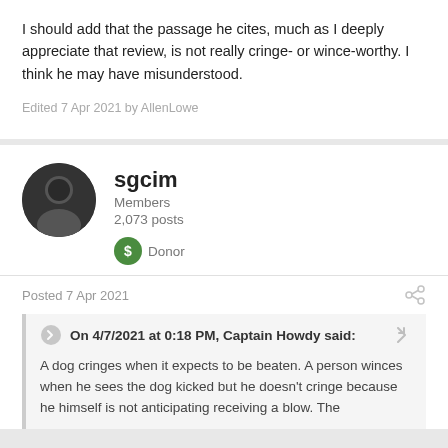I should add that the passage he cites, much as I deeply appreciate that review, is not really cringe- or wince-worthy. I think he may have misunderstood.
Edited 7 Apr 2021 by AllenLowe
sgcim
Members
2,073 posts
Donor
Posted 7 Apr 2021
On 4/7/2021 at 0:18 PM, Captain Howdy said:
A dog cringes when it expects to be beaten. A person winces when he sees the dog kicked but he doesn't cringe because he himself is not anticipating receiving a blow. The